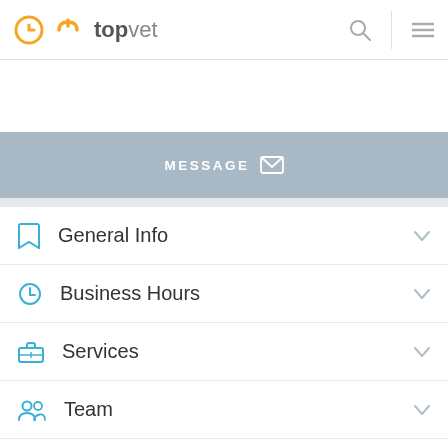topvet
[Figure (screenshot): MESSAGE banner with envelope icon]
General Info
Business Hours
Services
Team
Reviews